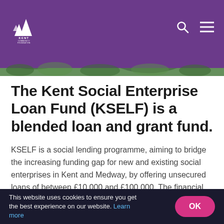[Figure (logo): Kent Community Foundation logo — white mountain/tree icon with KENT COMMUNITY FOUNDATION text in white on purple background]
[Figure (photo): Wave-shaped decorative banner with green foliage/landscape imagery transitioning from purple header to white content area]
The Kent Social Enterprise Loan Fund (KSELF) is a blended loan and grant fund.
KSELF is a social lending programme, aiming to bridge the increasing funding gap for new and existing social enterprises in Kent and Medway, by offering unsecured loans of between £10,000 and £100,000. The financial package will include an
This website uses cookies to ensure you get the best experience on our website. Learn more